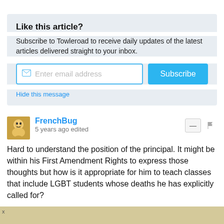Like this article?
Subscribe to Towleroad to receive daily updates of the latest articles delivered straight to your inbox.
Hide this message
FrenchBug
5 years ago edited
Hard to understand the position of the principal. It might be within his First Amendment Rights to express those thoughts but how is it appropriate for him to teach classes that include LGBT students whose deaths he has explicitly called for?